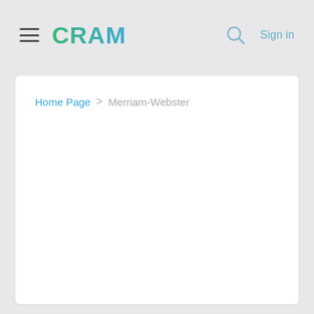≡ CRAM  🔍 Sign in
Home Page > Merriam-Webster